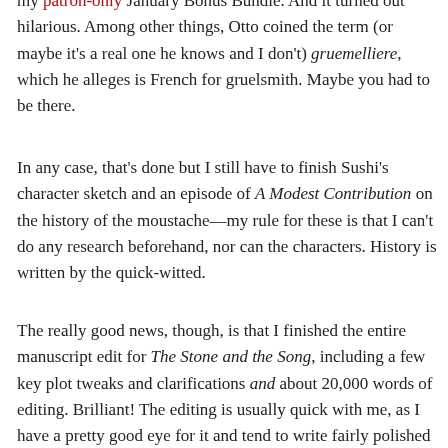my patron-only January Bonus Bundle. And it turned out hilarious. Among other things, Otto coined the term (or maybe it's a real one he knows and I don't) gruemelliere, which he alleges is French for gruelsmith. Maybe you had to be there.
In any case, that's done but I still have to finish Sushi's character sketch and an episode of A Modest Contribution on the history of the moustache—my rule for these is that I can't do any research beforehand, nor can the characters. History is written by the quick-witted.
The really good news, though, is that I finished the entire manuscript edit for The Stone and the Song, including a few key plot tweaks and clarifications and about 20,000 words of editing. Brilliant! The editing is usually quick with me, as I have a pretty good eye for it and tend to write fairly polished prose anyway, but I was nervous about the